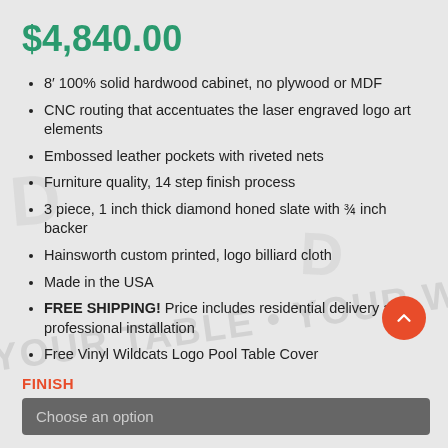$4,840.00
8' 100% solid hardwood cabinet, no plywood or MDF
CNC routing that accentuates the laser engraved logo art elements
Embossed leather pockets with riveted nets
Furniture quality, 14 step finish process
3 piece, 1 inch thick diamond honed slate with ¾ inch backer
Hainsworth custom printed, logo billiard cloth
Made in the USA
FREE SHIPPING! Price includes residential delivery and professional installation
Free Vinyl Wildcats Logo Pool Table Cover
FINISH
Choose an option